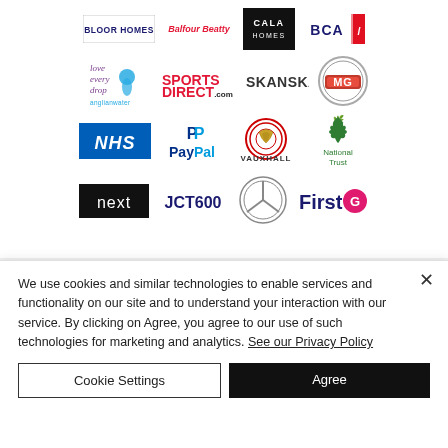[Figure (logo): Grid of company logos: Bloor Homes, Balfour Beatty, CALA Homes, BCA, Anglian Water (love every drop), Sports Direct, Skanska, MG, NHS, PayPal, Vauxhall, National Trust, Next, JCT600, Mercedes-Benz, First]
We use cookies and similar technologies to enable services and functionality on our site and to understand your interaction with our service. By clicking on Agree, you agree to our use of such technologies for marketing and analytics. See our Privacy Policy
Cookie Settings
Agree